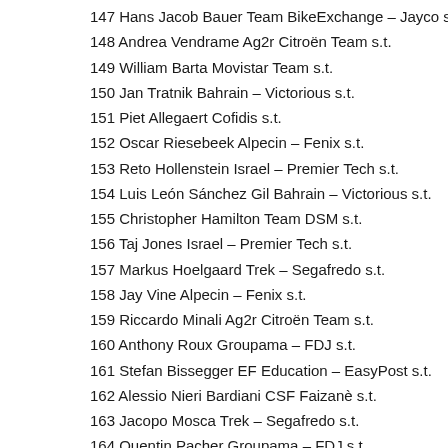147 Hans Jacob Bauer Team BikeExchange – Jayco s.t.
148 Andrea Vendrame Ag2r Citroën Team s.t.
149 William Barta Movistar Team s.t.
150 Jan Tratnik Bahrain – Victorious s.t.
151 Piet Allegaert Cofidis s.t.
152 Oscar Riesebeek Alpecin – Fenix s.t.
153 Reto Hollenstein Israel – Premier Tech s.t.
154 Luis León Sánchez Gil Bahrain – Victorious s.t.
155 Christopher Hamilton Team DSM s.t.
156 Taj Jones Israel – Premier Tech s.t.
157 Markus Hoelgaard Trek – Segafredo s.t.
158 Jay Vine Alpecin – Fenix s.t.
159 Riccardo Minali Ag2r Citroën Team s.t.
160 Anthony Roux Groupama – FDJ s.t.
161 Stefan Bissegger EF Education – EasyPost s.t.
162 Alessio Nieri Bardiani CSF Faizanè s.t.
163 Jacopo Mosca Trek – Segafredo s.t.
164 Quentin Pacher Groupama – FDJ s.t.
165 Samuel Welsford Team DSM s.t.